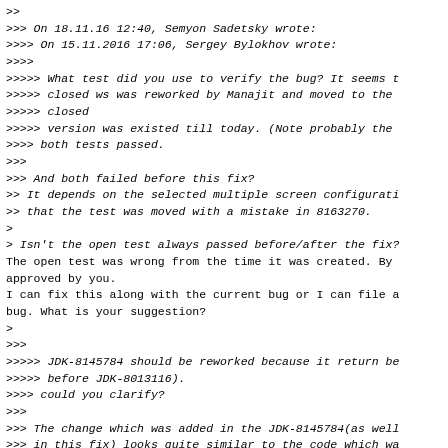>>
>>> On 18.11.16 12:40, Semyon Sadetsky wrote:
>>>> On 15.11.2016 17:06, Sergey Bylokhov wrote:
>>>>
>>>>> What test did you use to verify the bug? It seems t
>>>>> closed ws was reworked by Manajit and moved to the
>>>>> closed
>>>>> version was existed till today. (Note probably the
>>>> both tests passed.
>>>
>>> And both failed before this fix?
>> It depends on the selected multiple screen configurati
>> that the test was moved with a mistake in 8163270.
>
> Isn't the open test always passed before/after the fix?
The open test was wrong from the time it was created. By
approved by you.
I can fix this along with the current bug or I can file a
bug. What is your suggestion?
>
>>>
>>>>> JDK-8145784 should be reworked because it return be
>>>>> before JDK-8013116).
>>>> could you clarify?
>>>
>>> The change which was added in the JDK-8145784(as well
>>> in this fix) looks quite similar to the code which wa
>>> JDK-8013116.
>> Apparently that was incorrect.
>